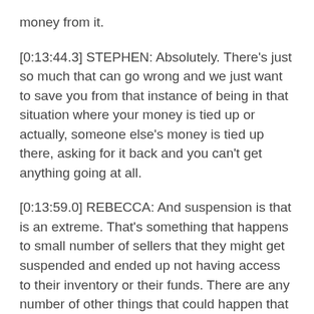money from it.
[0:13:44.3] STEPHEN: Absolutely. There's just so much that can go wrong and we just want to save you from that instance of being in that situation where your money is tied up or actually, someone else's money is tied up there, asking for it back and you can't get anything going at all.
[0:13:59.0] REBECCA: And suspension is that is an extreme. That's something that happens to small number of sellers that they might get suspended and ended up not having access to their inventory or their funds. There are any number of other things that could happen that could mean that you would end up having to pay back. You would be